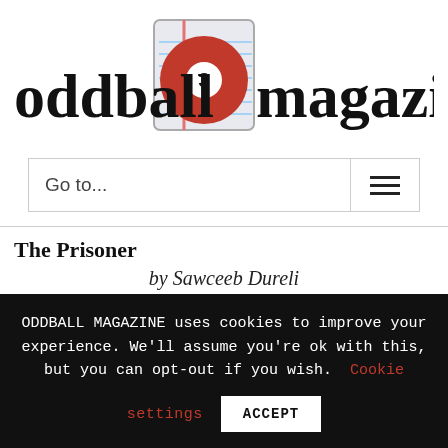[Figure (logo): Oddball Magazine logo: stylized bold text 'oddball magazine' with a red billiard ball numbered 3 embedded between 'oddball' and 'magazine', ball shown on a lined notepad icon background]
Go to...
The Prisoner
by Sawceeb Dureli
He wasn't very happy; he was not
ODDBALL MAGAZINE uses cookies to improve your experience. We'll assume you're ok with this, but you can opt-out if you wish. Cookie settings ACCEPT